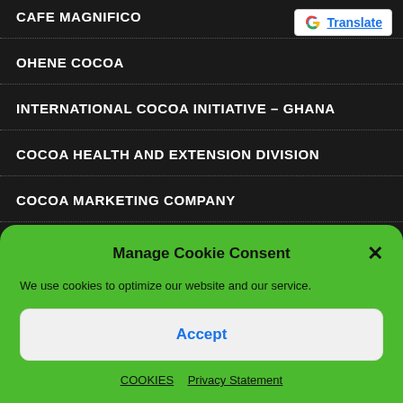CAFE MAGNIFICO
OHENE COCOA
INTERNATIONAL COCOA INITIATIVE – GHANA
COCOA HEALTH AND EXTENSION DIVISION
COCOA MARKETING COMPANY
[Figure (screenshot): Google Translate button in top right corner]
Manage Cookie Consent
We use cookies to optimize our website and our service.
Accept
COOKIES  Privacy Statement